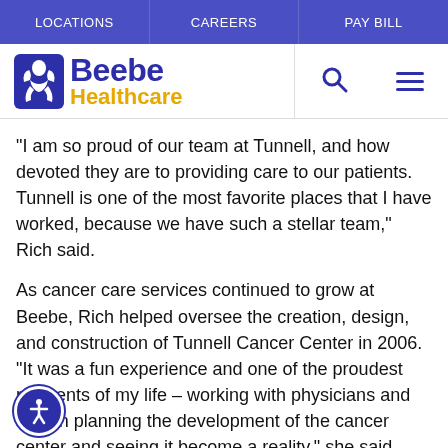LOCATIONS | CAREERS | PAY BILL
[Figure (logo): Beebe Healthcare logo with blue bird/hands icon, 'Beebe' in dark blue and 'Healthcare' in gold/yellow]
“I am so proud of our team at Tunnell, and how devoted they are to providing care to our patients. Tunnell is one of the most favorite places that I have worked, because we have such a stellar team,” Rich said.
As cancer care services continued to grow at Beebe, Rich helped oversee the creation, design, and construction of Tunnell Cancer Center in 2006. “It was a fun experience and one of the proudest moments of my life – working with physicians and staff in planning the development of the cancer center and seeing it become a reality,” she said.